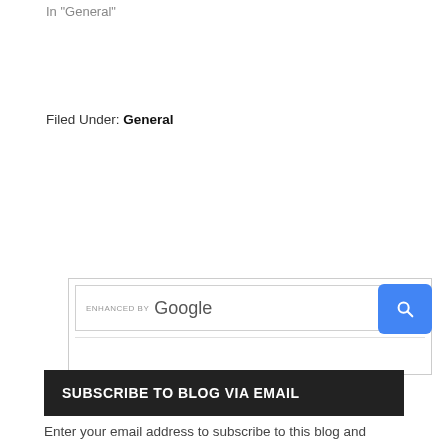In "General"
Filed Under: General
[Figure (screenshot): Google enhanced search widget with blue search button]
SUBSCRIBE TO BLOG VIA EMAIL
Enter your email address to subscribe to this blog and